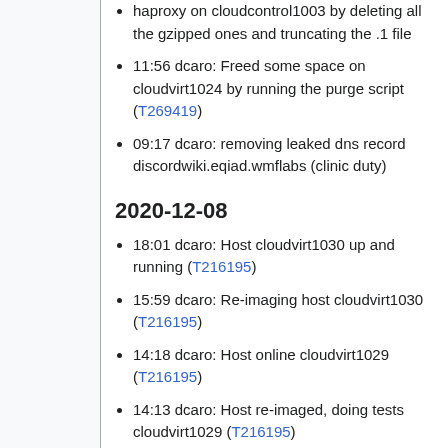haproxy on cloudcontrol1003 by deleting all the gzipped ones and truncating the .1 file
11:56 dcaro: Freed some space on cloudvirt1024 by running the purge script (T269419)
09:17 dcaro: removing leaked dns record discordwiki.eqiad.wmflabs (clinic duty)
2020-12-08
18:01 dcaro: Host cloudvirt1030 up and running (T216195)
15:59 dcaro: Re-imaging host cloudvirt1030 (T216195)
14:18 dcaro: Host online cloudvirt1029 (T216195)
14:13 dcaro: Host re-imaged, doing tests cloudvirt1029 (T216195)
12:14 dcaro: Re-imaging